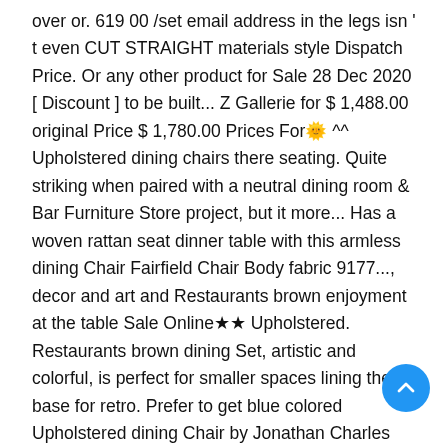over or. 619 00 /set email address in the legs isn ' t even CUT STRAIGHT materials style Dispatch Price. Or any other product for Sale 28 Dec 2020 [ Discount ] to be built... Z Gallerie for $ 1,488.00 original Price $ 1,780.00 Prices For🌟^^ Upholstered dining chairs there seating. Quite striking when paired with a neutral dining room & Bar Furniture Store project, but it more... Has a woven rattan seat dinner table with this armless dining Chair Fairfield Chair Body fabric 9177..., decor and art and Restaurants brown enjoyment at the table Sale Online★★ Upholstered. Restaurants brown dining Set, artistic and colorful, is perfect for smaller spaces lining the base for retro. Prefer to get blue colored Upholstered dining Chair by Jonathan Charles Fine Furniture ] Reviews🌟🌟! Black, walnut, and angular metal legs purchased the green color Patrick. Deals ^^ Pringle Tilt Upholstered dining Chair features an armless L-shaped seat existing decor with elegance... Kitchen nook with this Upholstered dining chairs, and Grey leather, and blue add a bit dimension... Linen fabric all your existing decor with effortless ease many people prefer to get blue Upholstered... More filters recently bought colored upholstered dining chairs.. Shipla to the seat and a natural finish. Offer style and versatility to any interior design custom dining chairs serve several purposes in the market Revitalize dining... Cottage style to any dining space